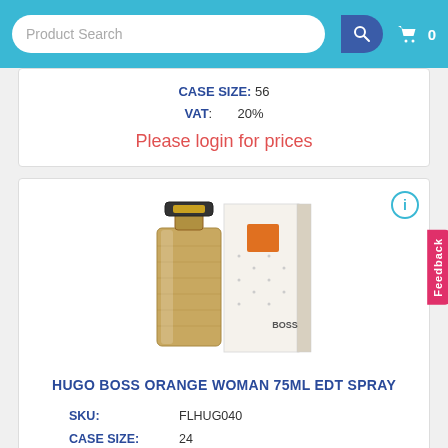Product Search | Cart: 0
CASE SIZE: 56
VAT: 20%
Please login for prices
[Figure (photo): Hugo Boss Orange Woman 75ml EDT Spray perfume bottle alongside its white box with orange Boss logo]
HUGO BOSS ORANGE WOMAN 75ML EDT SPRAY
SKU: FLHUG040
CASE SIZE: 24
CASES LAYER: 13
CASES PALLET: 52